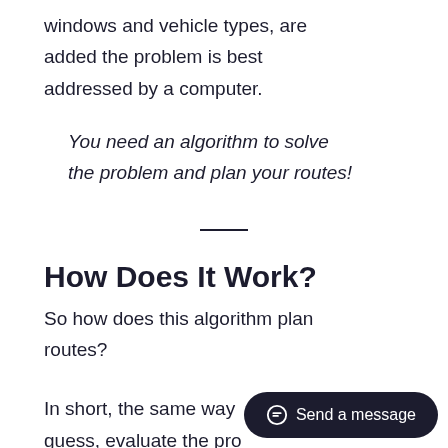windows and vehicle types, are added the problem is best addressed by a computer.
You need an algorithm to solve the problem and plan your routes!
How Does It Work?
So how does this algorithm plan routes?
In short, the same way guess, evaluate the pro